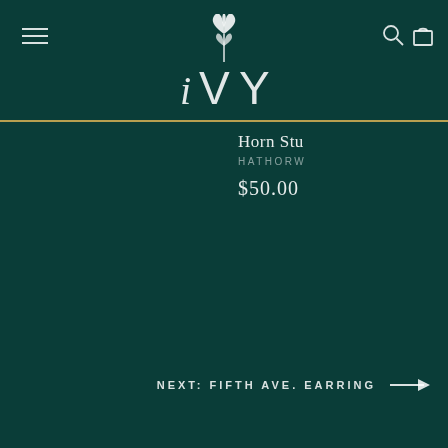[Figure (logo): IVY brand logo with stylized plant/leaf emblem above the text 'iVY' in mixed case decorative typography on dark teal background]
Horn Stu
HATHORW
$50.00
NEXT: FIFTH AVE. EARRING →